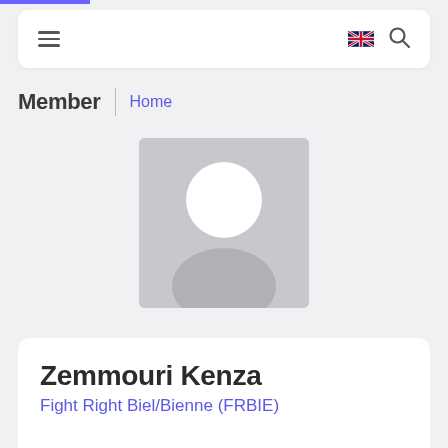Member | Home
[Figure (illustration): Default user avatar placeholder: grey rounded rectangle with white circle (head) and grey partial circle (shoulders) silhouette.]
Zemmouri Kenza
Fight Right Biel/Bienne (FRBIE)